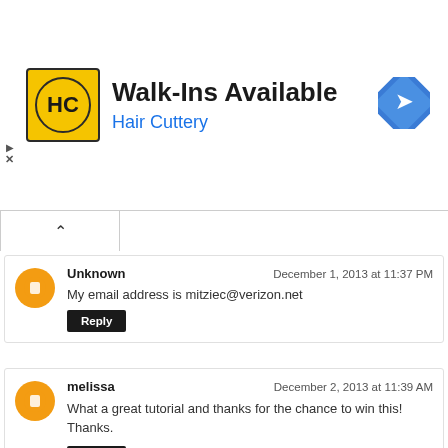[Figure (illustration): Hair Cuttery advertisement banner with logo, 'Walk-Ins Available' text, and a blue navigation arrow icon]
Unknown
December 1, 2013 at 11:37 PM
My email address is mitziec@verizon.net
Reply
melissa
December 2, 2013 at 11:39 AM
What a great tutorial and thanks for the chance to win this! Thanks.
Reply